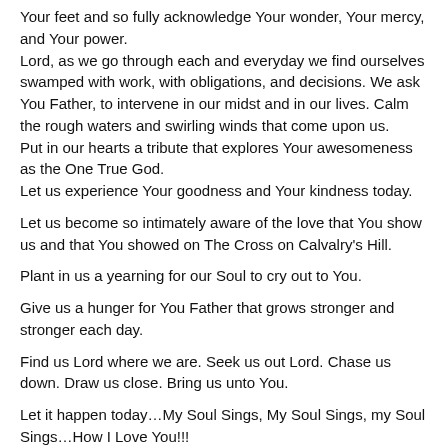Your feet and so fully acknowledge Your wonder, Your mercy, and Your power.
Lord, as we go through each and everyday we find ourselves swamped with work, with obligations, and decisions. We ask You Father, to intervene in our midst and in our lives. Calm the rough waters and swirling winds that come upon us.
Put in our hearts a tribute that explores Your awesomeness as the One True God.
Let us experience Your goodness and Your kindness today.
Let us become so intimately aware of the love that You show us and that You showed on The Cross on Calvalry's Hill.
Plant in us a yearning for our Soul to cry out to You.
Give us a hunger for You Father that grows stronger and stronger each day.
Find us Lord where we are. Seek us out Lord. Chase us down. Draw us close. Bring us unto You.
Let it happen today…My Soul Sings, My Soul Sings, my Soul Sings…How I Love You!!!